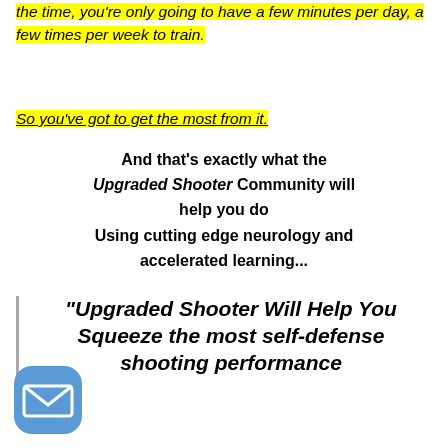the time, you’re only going to have a few minutes per day, a few times per week to train.
So you’ve got to get the most from it.
And that's exactly what the Upgraded Shooter Community will help you do Using cutting edge neurology and accelerated learning...
"Upgraded Shooter Will Help You Squeeze the most self-defense shooting performance